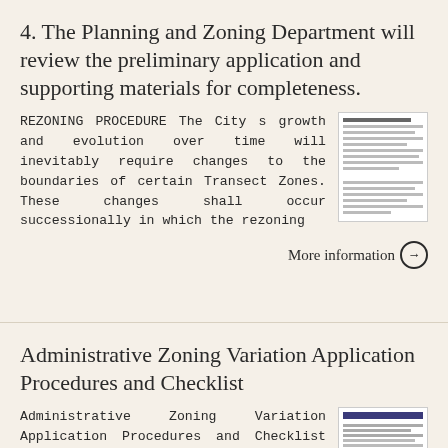4. The Planning and Zoning Department will review the preliminary application and supporting materials for completeness.
REZONING PROCEDURE The City s growth and evolution over time will inevitably require changes to the boundaries of certain Transect Zones. These changes shall occur successionally in which the rezoning
More information →
Administrative Zoning Variation Application Procedures and Checklist
Administrative Zoning Variation Application Procedures and Checklist Any variation to decrease any setback or any minimum yard dimension by less than or equal to 25% or five feet, whichever is less, or